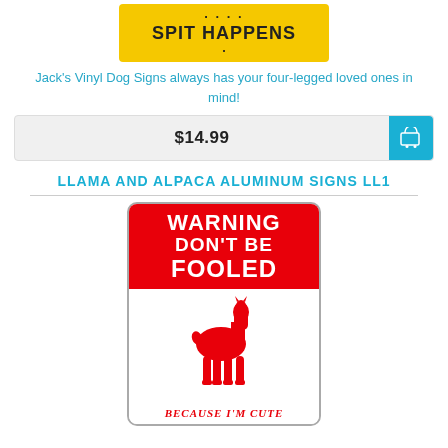[Figure (photo): Yellow sign with text 'SPIT HAPPENS' in black bold lettering on yellow background]
Jack's Vinyl Dog Signs always has your four-legged loved ones in mind!
$14.99
LLAMA AND ALPACA ALUMINUM SIGNS LL1
[Figure (photo): Warning sign with red header reading 'WARNING DON'T BE FOOLED', red llama silhouette on white background, text at bottom reads 'BECAUSE I'M CUTE']